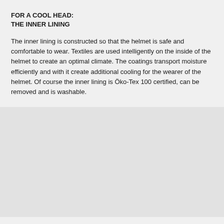FOR A COOL HEAD:
THE INNER LINING
The inner lining is constructed so that the helmet is safe and comfortable to wear. Textiles are used intelligently on the inside of the helmet to create an optimal climate. The coatings transport moisture efficiently and with it create additional cooling for the wearer of the helmet. Of course the inner lining is Öko-Tex 100 certified, can be removed and is washable.